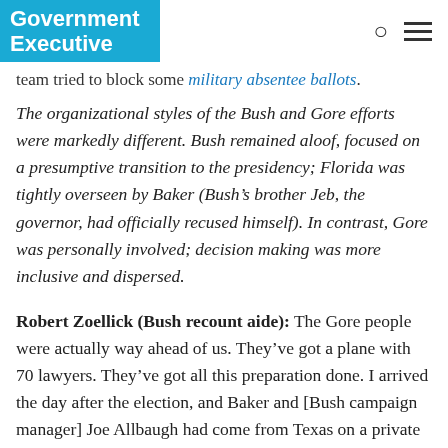Government Executive
team tried to block some military absentee ballots.
The organizational styles of the Bush and Gore efforts were markedly different. Bush remained aloof, focused on a presumptive transition to the presidency; Florida was tightly overseen by Baker (Bush’s brother Jeb, the governor, had officially recused himself). In contrast, Gore was personally involved; decision making was more inclusive and dispersed.
Robert Zoellick (Bush recount aide): The Gore people were actually way ahead of us. They’ve got a plane with 70 lawyers. They’ve got all this preparation done. I arrived the day after the election, and Baker and [Bush campaign manager] Joe Allbaugh had come from Texas on a private plane. We were the first three down there. We’re really starting from scratch. But by the end, we had specialized